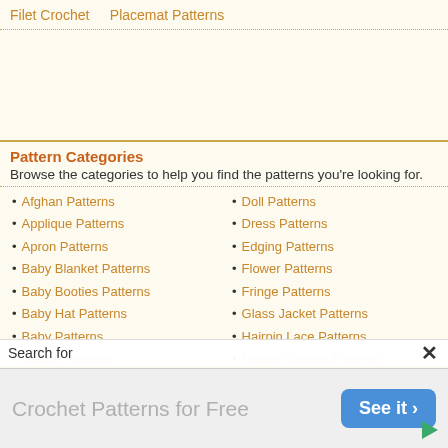Filet Crochet   Placemat Patterns
Pattern Categories
Browse the categories to help you find the patterns you're looking for.
Afghan Patterns
Applique Patterns
Apron Patterns
Baby Blanket Patterns
Baby Booties Patterns
Baby Hat Patterns
Baby Patterns
Basket Patterns
Bathroom Patterns
Doll Patterns
Dress Patterns
Edging Patterns
Flower Patterns
Fringe Patterns
Glass Jacket Patterns
Hairpin Lace Patterns
Hanger Covers Patterns
Hat Patterns
Search for
[Figure (infographic): Advertisement banner: 'Crochet Patterns for Free' with a blue 'See it >' button and a play icon in the bottom right.]